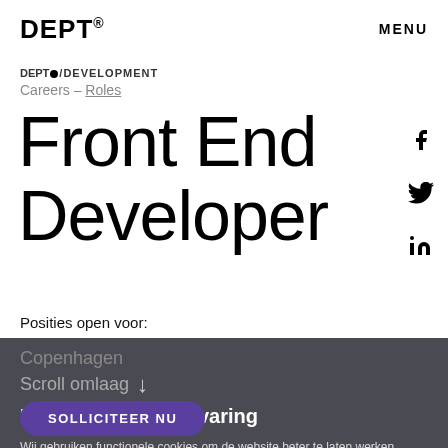DEPT. MENU
DEPT®/DEVELOPMENT
Careers – Roles
Front End Developer
Posities open voor:
Copenhagen
Scroll omlaag ↓
Personaliseer je ervaring
Wij gebruiken functionele cookies om de website beter te laten werken, analytische cookies om gedrag te meten en marketing cookies om advertenties- en content te personaliseren. Wij verzamelen gegevens over de manier waarop je onze website gebruikt om onze website makkelijker in gebruik te maken maar ook om communicatie in advertenties, op onze website